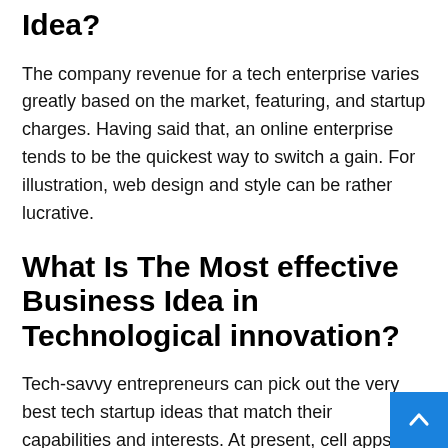Idea?
The company revenue for a tech enterprise varies greatly based on the market, featuring, and startup charges. Having said that, an online enterprise tends to be the quickest way to switch a gain. For illustration, web design and style can be rather lucrative.
What Is The Most effective Business Idea in Technological innovation?
Tech-savvy entrepreneurs can pick out the very best tech startup ideas that match their capabilities and interests. At present, cell apps and automation are at the forefront of the